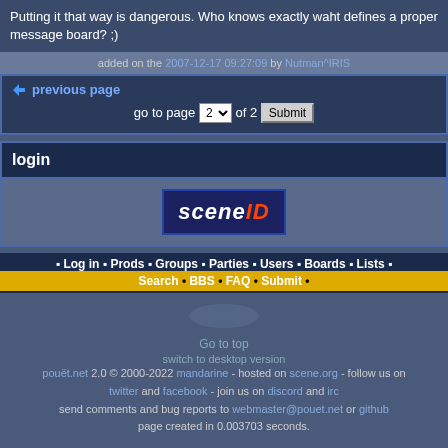Putting it that way is dangerous. Who knows exactly waht defines a proper message board? ;)
added on the 2007-12-17 09:27:09 by Nutman^IRIS
◆ previous page
go to page 2 of 2 Submit
login
[Figure (logo): sceneID logo - dark blue rectangle with italic white 'scene' and red 'ID' text]
• Log in • Prods • Groups • Parties • Users • Boards • Lists •
Search • BBS • FAQ • Submit •
Go to top
switch to desktop version
pouët.net 2.0 © 2000-2022 mandarine - hosted on scene.org - follow us on twitter and facebook - join us on discord and irc
send comments and bug reports to webmaster@pouet.net or github
page created in 0.003703 seconds.